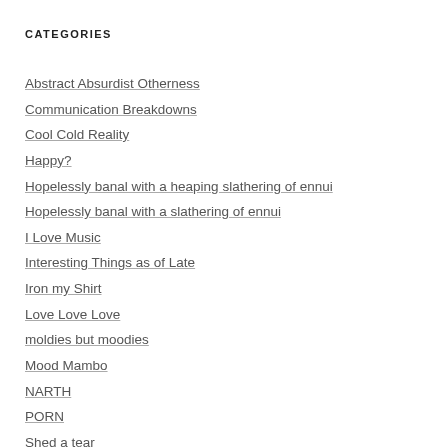CATEGORIES
Abstract Absurdist Otherness
Communication Breakdowns
Cool Cold Reality
Happy?
Hopelessly banal with a heaping slathering of ennui
Hopelessly banal with a slathering of ennui
I Love Music
Interesting Things as of Late
Iron my Shirt
Love Love Love
moldies but moodies
Mood Mambo
NARTH
PORN
Shed a tear
So how's band camp?